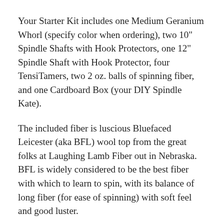Your Starter Kit includes one Medium Geranium Whorl (specify color when ordering), two 10" Spindle Shafts with Hook Protectors, one 12" Spindle Shaft with Hook Protector, four TensiTamers, two 2 oz. balls of spinning fiber, and one Cardboard Box (your DIY Spindle Kate).
The included fiber is luscious Bluefaced Leicester (aka BFL) wool top from the great folks at Laughing Lamb Fiber out in Nebraska. BFL is widely considered to be the best fiber with which to learn to spin, with its balance of long fiber (for ease of spinning) with soft feel and good luster.
The Kit also includes instructions and links to detailed video guidance. And our legendary Akerworks customer support is available to help you not only with your hardware but also with your spinning education! Don't